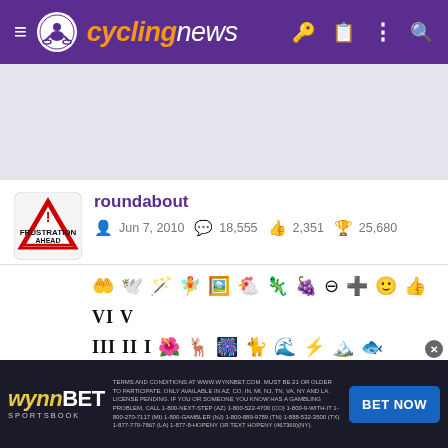cyclingnews
[Figure (other): Advertisement banner area (gray)]
roundabout
Jun 7, 2010  18,555  2,351  25,680
[Figure (other): User achievement badges and icons row]
May 30, 2021  #12
2 very good stages, one probably quite good as well, but we didn't see most of the good part, Yates making the most of the final climb on
[Figure (other): WynnBet Sportsbook advertisement banner at bottom]